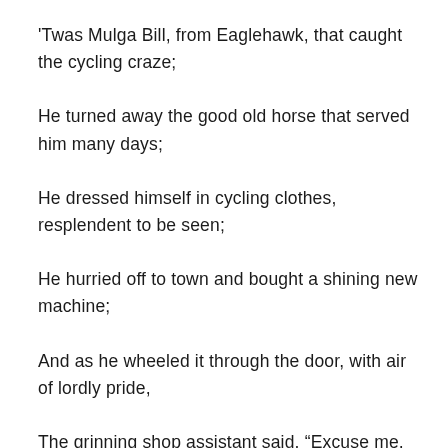'Twas Mulga Bill, from Eaglehawk, that caught the cycling craze;
He turned away the good old horse that served him many days;
He dressed himself in cycling clothes, resplendent to be seen;
He hurried off to town and bought a shining new machine;
And as he wheeled it through the door, with air of lordly pride,
The grinning shop assistant said, “Excuse me, can you ride?”
“See here, young man,” said Mulga Bill, “from Walgett to the sea,
From Conroy’s Gap to Castlereagh, there’s none can ride like me.
I’m good all round at everything, as everybody knows,
Although I’m not the one to talk – I hate a man that